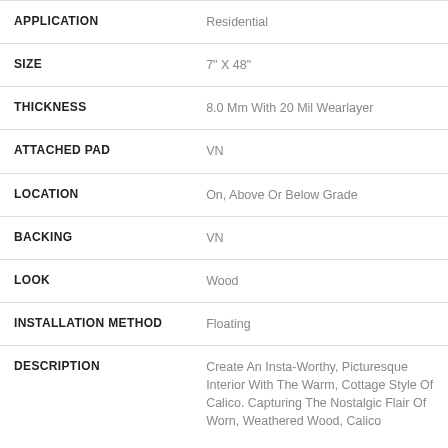| Attribute | Value |
| --- | --- |
| APPLICATION | Residential |
| SIZE | 7" X 48" |
| THICKNESS | 8.0 Mm With 20 Mil Wearlayer |
| ATTACHED PAD | VN |
| LOCATION | On, Above Or Below Grade |
| BACKING | VN |
| LOOK | Wood |
| INSTALLATION METHOD | Floating |
| DESCRIPTION | Create An Insta-Worthy, Picturesque Interior With The Warm, Cottage Style Of Calico. Capturing The Nostalgic Flair Of Worn, Weathered Wood, Calico |